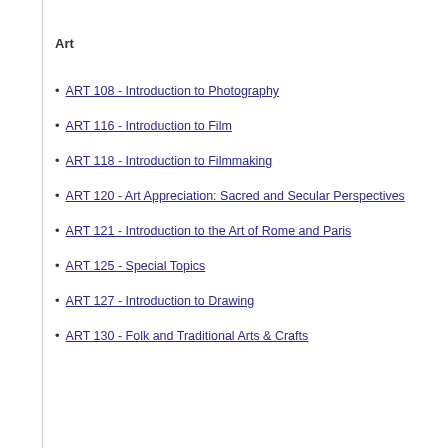Art
ART 108 - Introduction to Photography
ART 116 - Introduction to Film
ART 118 - Introduction to Filmmaking
ART 120 - Art Appreciation: Sacred and Secular Perspectives
ART 121 - Introduction to the Art of Rome and Paris
ART 125 - Special Topics
ART 127 - Introduction to Drawing
ART 130 - Folk and Traditional Arts & Crafts